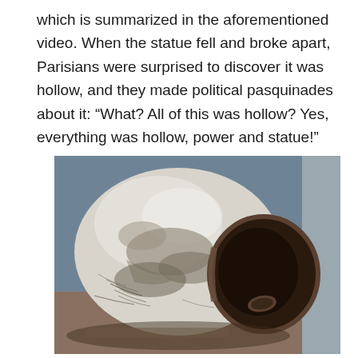which is summarized in the aforementioned video. When the statue fell and broke apart, Parisians were surprised to discover it was hollow, and they made political pasquinades about it: “What? All of this was hollow? Yes, everything was hollow, power and statue!”
[Figure (photo): A photograph of a hollow bronze or metal statue fragment (a head/bust) lying on its side, showing the dark hollow interior through the broken neck cross-section. The exterior surface appears silver-white with dark patina markings.]